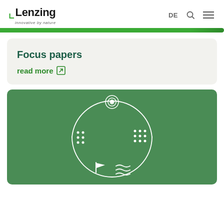Lenzing — innovative by nature | DE
[Figure (logo): Lenzing logo with green bracket, bold text 'Lenzing', tagline 'innovative by nature']
Focus papers
read more ↗
[Figure (illustration): Circular lifecycle diagram with concentric circles icon at top, dot patterns on left and right sides, flag icon at bottom left and wave icon at bottom right, all in white on green background]